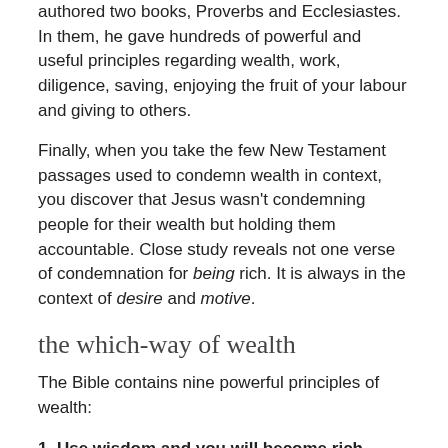authored two books, Proverbs and Ecclesiastes. In them, he gave hundreds of powerful and useful principles regarding wealth, work, diligence, saving, enjoying the fruit of your labour and giving to others.
Finally, when you take the few New Testament passages used to condemn wealth in context, you discover that Jesus wasn't condemning people for their wealth but holding them accountable. Close study reveals not one verse of condemnation for being rich. It is always in the context of desire and motive.
the which-way of wealth
The Bible contains nine powerful principles of wealth:
1. Use wisdom and you will become rich. "Wisdom gives: a long, good life, riches, honour, pleasure, peace" (Proverbs 3:16, TLB).
2. God gives riches and wealth. "God gives any man wealth and possessions, and enables him to enjoy them, to accept his